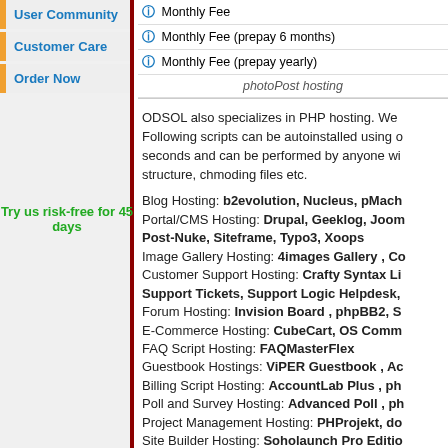User Community
Customer Care
Order Now
Try us risk-free for 45 days
|  |  |
| --- | --- |
| ℹ Monthly Fee |  |
| ℹ Monthly Fee (prepay 6 months) |  |
| ℹ Monthly Fee (prepay yearly) |  |
| photoPost hosting |  |
ODSOL also specializes in PHP hosting. We Following scripts can be autoinstalled using o seconds and can be performed by anyone wi structure, chmoding files etc.

Blog Hosting: b2evolution, Nucleus, pMach Portal/CMS Hosting: Drupal, Geeklog, Joom Post-Nuke, Siteframe, Typo3, Xoops Image Gallery Hosting: 4images Gallery , Co Customer Support Hosting: Crafty Syntax Li Support Tickets, Support Logic Helpdesk, Forum Hosting: Invision Board , phpBB2, S E-Commerce Hosting: CubeCart, OS Comm FAQ Script Hosting: FAQMasterFlex Guestbook Hostings: ViPER Guestbook , Ac Billing Script Hosting: AccountLab Plus , ph Poll and Survey Hosting: Advanced Poll , ph Project Management Hosting: PHProjekt, do Site Builder Hosting: Soholaunch Pro Editio Wiki Hosting: PhpWiki, TikiWiki Other Script Hosting: Dew-NewPHPLinks, No phpFormGenerator, WebCalendar, cheap ser hosting, cheap reseller programs, ImageMagi hosting, Perl & CGI hosting, Forum hosting, C hosting reseller, postNuke hosting, Invision B private server with full root access, reseller pl vBulletin hosting, dedicated servers, dedicate osCommerce hosting, cheap webhosting, ima (support Image Magick; GD library; php accel mbstring; xml; zlib; etc), reseller hosting CPar hosting plans, Weblog hosting, linux web hos Mood, Translation, cheap reseller hosting